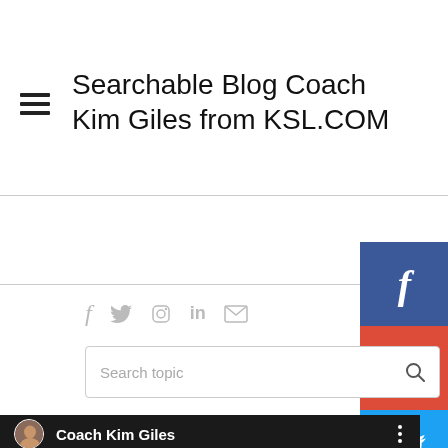Searchable Blog Coach Kim Giles from KSL.COM
[Figure (screenshot): Website screenshot showing social media icon row (Facebook, Twitter, Instagram, LinkedIn, Email) in gray, a search box with placeholder 'Search topic', and a video thumbnail featuring Coach Kim Giles with avatar and name bar]
[Figure (infographic): Right sidebar with stacked social share buttons: Facebook (dark blue), Google+ (red), Twitter (light blue), Instagram (pink/magenta), LinkedIn (dark blue)]